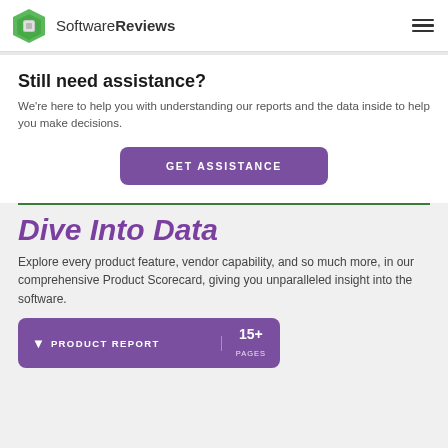SoftwareReviews
Still need assistance?
We're here to help you with understanding our reports and the data inside to help you make decisions.
GET ASSISTANCE
Dive Into Data
Explore every product feature, vendor capability, and so much more, in our comprehensive Product Scorecard, giving you unparalleled insight into the software.
PRODUCT REPORT 15+ PAGES